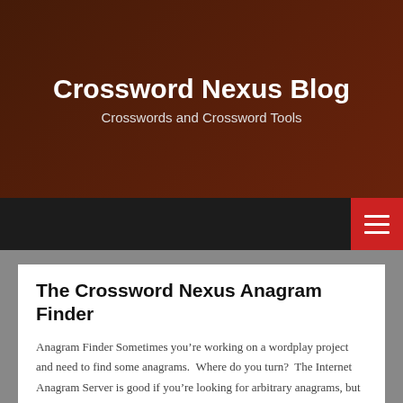Crossword Nexus Blog
Crosswords and Crossword Tools
The Crossword Nexus Anagram Finder
Anagram Finder Sometimes you’re working on a wordplay project and need to find some anagrams.  Where do you turn?  The Internet Anagram Server is good if you’re looking for arbitrary anagrams, but not great if you want your anagrams to be real phrases.  Anagram Solver is good but I have two complaints about it —…